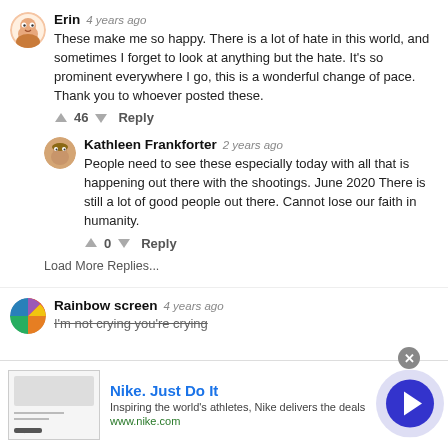Erin  4 years ago
These make me so happy. There is a lot of hate in this world, and sometimes I forget to look at anything but the hate. It's so prominent everywhere I go, this is a wonderful change of pace. Thank you to whoever posted these.
46  Reply
Kathleen Frankforter  2 years ago
People need to see these especially today with all that is happening out there with the shootings. June 2020 There is still a lot of good people out there. Cannot lose our faith in humanity.
0  Reply
Load More Replies...
Rainbow screen  4 years ago
I'm not crying you're crying
Nike. Just Do It
Inspiring the world's athletes, Nike delivers the deals
www.nike.com